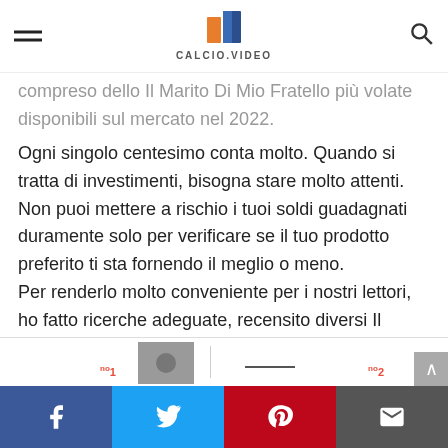CALCIO.VIDEO
compreso dello Il Marito Di Mio Fratello più volate disponibili sul mercato nel 2022.
Ogni singolo centesimo conta molto. Quando si tratta di investimenti, bisogna stare molto attenti. Non puoi mettere a rischio i tuoi soldi guadagnati duramente solo per verificare se il tuo prodotto preferito ti sta fornendo il meglio o meno.
Per renderlo molto conveniente per i nostri lettori, ho fatto ricerche adeguate, recensito diversi Il Marito Di Mio Fratello e li ho anche confrontati tutti prima di raggiungere la decisione finale.
[Figure (screenshot): Social share bar at bottom with Facebook, Twitter, Pinterest, and email icons; thumbnail images with numbered badges visible above the bar.]